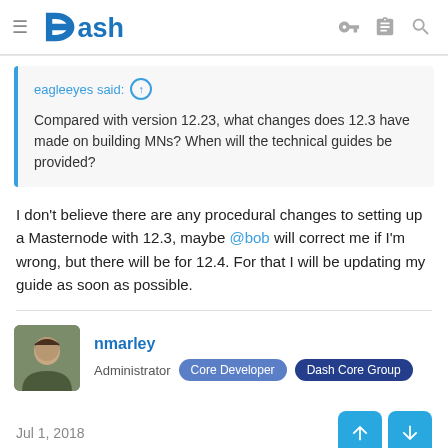Dash
eagleeyes said: ↑
Compared with version 12.23, what changes does 12.3 have made on building MNs? When will the technical guides be provided?
I don't believe there are any procedural changes to setting up a Masternode with 12.3, maybe @bob will correct me if I'm wrong, but there will be for 12.4. For that I will be updating my guide as soon as possible.
nmarley
Administrator  Core Developer  Dash Core Group
Jul 1, 2018